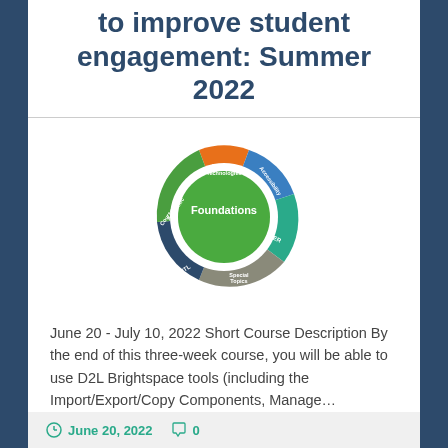to improve student engagement: Summer 2022
[Figure (infographic): Circular diagram with green center labeled 'Foundations', surrounded by colored segments: Academic Technologies (orange, top), Accessibility (blue, right), OER (teal, bottom-right), Special Topics (gray, bottom), SOTL (navy, bottom-left), Academic Courses (green, left)]
June 20 - July 10, 2022 Short Course Description By the end of this three-week course, you will be able to use D2L Brightspace tools (including the Import/Export/Copy Components, Manage…
Continue Reading →
June 20, 2022   0